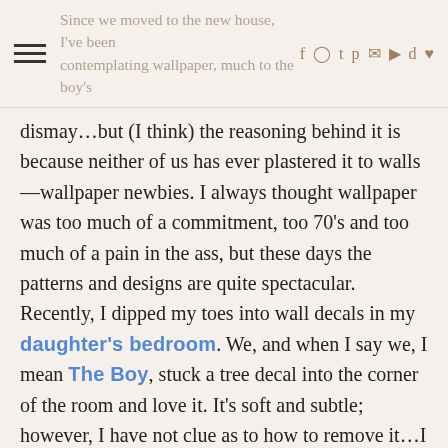Since we moved to the new house, I've been contemplating wallpaper, much to the boy's
dismay…but (I think) the reasoning behind it is because neither of us has ever plastered it to walls—wallpaper newbies. I always thought wallpaper was too much of a commitment, too 70's and too much of a pain in the ass, but these days the patterns and designs are quite spectacular. Recently, I dipped my toes into wall decals in my daughter's bedroom. We, and when I say we, I mean The Boy, stuck a tree decal into the corner of the room and love it. It's soft and subtle; however, I have not clue as to how to remove it…I guess I will learn years down the road when she is 15 and deal with it then…or maybe buy a new house. I digress.

While perusing Design Sponge, I came across a post and fell in love with Cole & Sons new